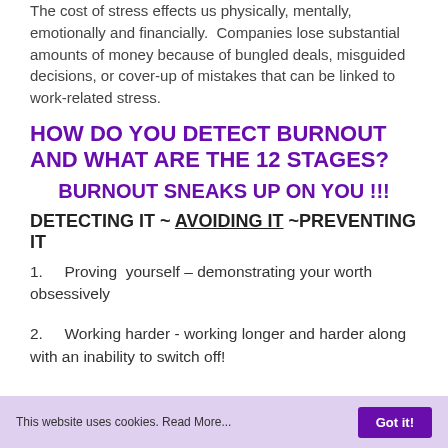The cost of stress effects us physically, mentally, emotionally and financially.  Companies lose substantial amounts of money because of bungled deals, misguided decisions, or cover-up of mistakes that can be linked to work-related stress.
HOW DO YOU DETECT BURNOUT AND WHAT ARE THE 12 STAGES?
BURNOUT SNEAKS UP ON YOU !!!
DETECTING IT ~ AVOIDING IT ~PREVENTING IT
1.    Proving  yourself – demonstrating your worth obsessively
2.    Working harder - working longer and harder along with an inability to switch off!
This website uses cookies. Read More...  Got it!